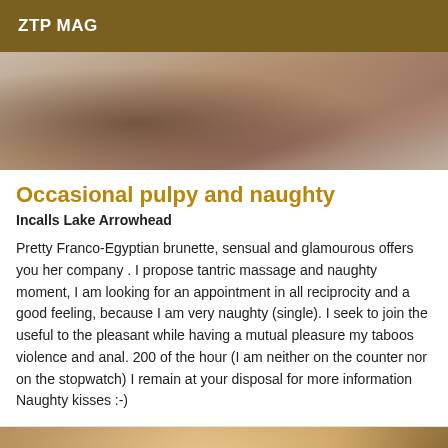ZTP MAG
[Figure (photo): Close-up photo showing hands and fabric, partially cropped at top]
Occasional pulpy and naughty
Incalls Lake Arrowhead
Pretty Franco-Egyptian brunette, sensual and glamourous offers you her company . I propose tantric massage and naughty moment, I am looking for an appointment in all reciprocity and a good feeling, because I am very naughty (single). I seek to join the useful to the pleasant while having a mutual pleasure my taboos violence and anal. 200 of the hour (I am neither on the counter nor on the stopwatch) I remain at your disposal for more information Naughty kisses :-)
[Figure (photo): Partial photo at bottom of page, warm tones, partially cropped]